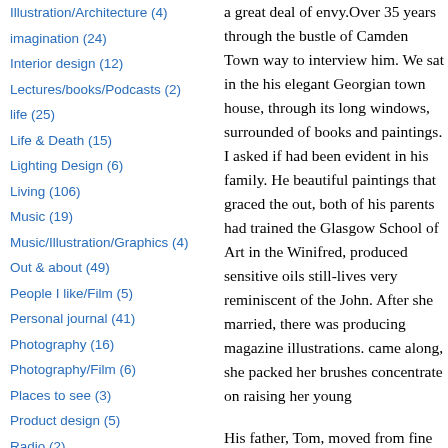Illustration/Architecture (4)
imagination (24)
Interior design (12)
Lectures/books/Podcasts (2)
life (25)
Life & Death (15)
Lighting Design (6)
Living (106)
Music (19)
Music/Illustration/Graphics (4)
Out & about (49)
People I like/Film (5)
Personal journal (41)
Photography (16)
Photography/Film (6)
Places to see (3)
Product design (5)
Radio (2)
PRInsights (15)
a great deal of envy.Over 35 years through the bustle of Camden Town way to interview him. We sat in the his elegant Georgian town house, through its long windows, surrounded of books and paintings. I asked if had been evident in his family. He beautiful paintings that graced the out, both of his parents had trained the Glasgow School of Art in the Winifred, produced sensitive oils still-lives very reminiscent of the John. After she married, there was producing magazine illustrations. came along, she packed her brushes concentrate on raising her young
His father, Tom, moved from fine commercial world in order to achieve income. Very quickly he demonstrates